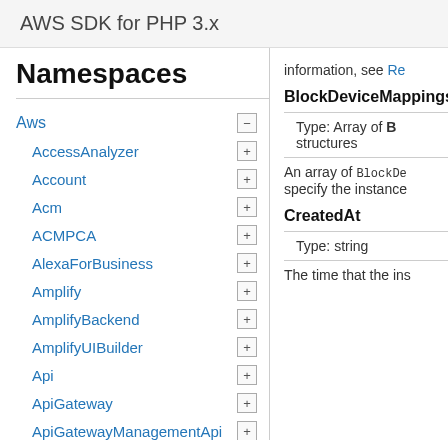AWS SDK for PHP 3.x
Namespaces
Aws
AccessAnalyzer
Account
Acm
ACMPCA
AlexaForBusiness
Amplify
AmplifyBackend
AmplifyUIBuilder
Api
ApiGateway
ApiGatewayManagementApi
information, see Re
BlockDeviceMappings
Type: Array of BlockDe structures
An array of BlockDe specify the instance
CreatedAt
Type: string
The time that the ins